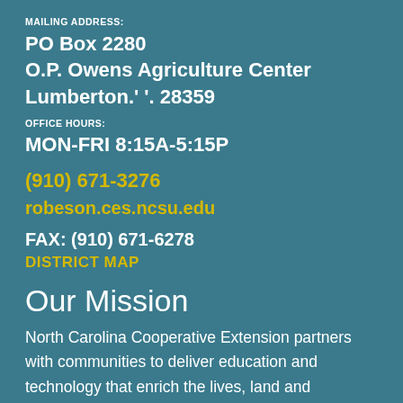MAILING ADDRESS:
PO Box 2280
O.P. Owens Agriculture Center
Lumberton.' '. 28359
OFFICE HOURS:
MON-FRI 8:15A-5:15P
(910) 671-3276
robeson.ces.ncsu.edu
FAX: (910) 671-6278
DISTRICT MAP
Our Mission
North Carolina Cooperative Extension partners with communities to deliver education and technology that enrich the lives, land and economy of North Carolinians.